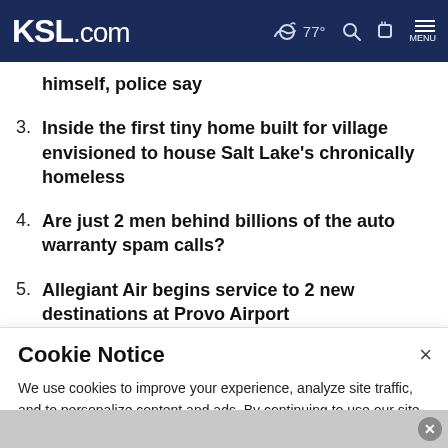KSL.com — 77° [weather icon] [search] [account] MENU
himself, police say
3. Inside the first tiny home built for village envisioned to house Salt Lake's chronically homeless
4. Are just 2 men behind billions of the auto warranty spam calls?
5. Allegiant Air begins service to 2 new destinations at Provo Airport
Cookie Notice
We use cookies to improve your experience, analyze site traffic, and to personalize content and ads. By continuing to use our site, you consent to our use of cookies. Please visit our Terms of Use and Privacy Policy for more information